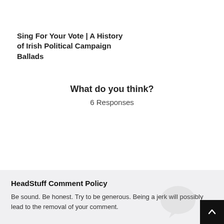Sing For Your Vote | A History of Irish Political Campaign Ballads
What do you think?
6 Responses
[Figure (infographic): Six reaction emoji icons in a row: Upvote (thumbs up), Love (heart eyes), Surprised (open mouth), Angry (crying angry face), Sad (sad face with tear), Funny (laughing face with tongue out), each labeled below]
HeadStuff Comment Policy
Be sound. Be honest. Try to be generous. Being a jerk will possibly lead to the removal of your comment.